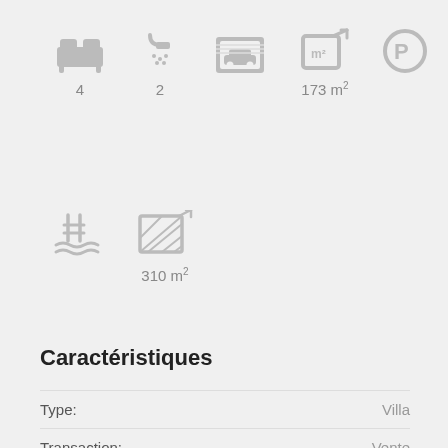[Figure (infographic): Row of property feature icons: bed (4), shower (2), garage, area 173 m², parking]
[Figure (infographic): Row of property feature icons: pool, land area 310 m²]
Caractéristiques
Type: Villa
Transaction: Vente
Toilettes: 2
Terrasse: Oui
Jardin: Oui
Chauffage: Oui